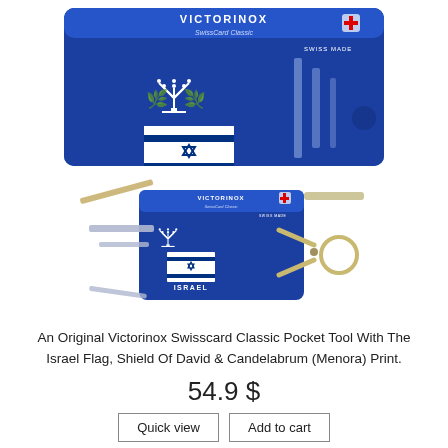[Figure (photo): Top view of a blue Victorinox SwissCard Classic with Israel flag, Menora (Candelabrum), and Shield of David print on the front face]
[Figure (photo): Open/expanded view of the same Victorinox SwissCard Classic pocket tool with tools extended including scissors, showing the Israel-themed print]
An Original Victorinox Swisscard Classic Pocket Tool With The Israel Flag, Shield Of David & Candelabrum (Menora) Print.
54.9 $
Quick view
Add to cart